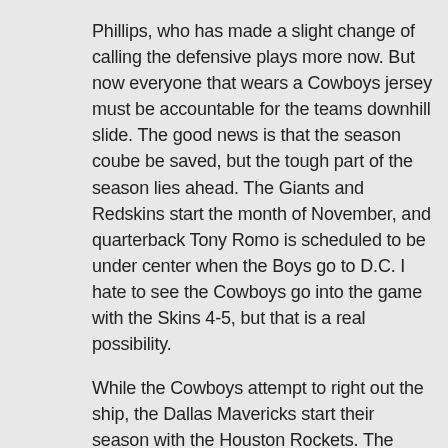Phillips, who has made a slight change of calling the defensive plays more now. But now everyone that wears a Cowboys jersey must be accountable for the teams downhill slide. The good news is that the season coube be saved, but the tough part of the season lies ahead. The Giants and Redskins start the month of November, and quarterback Tony Romo is scheduled to be under center when the Boys go to D.C. I hate to see the Cowboys go into the game with the Skins 4-5, but that is a real possibility.
While the Cowboys attempt to right out the ship, the Dallas Mavericks start their season with the Houston Rockets. The question for the Mavs, is where are they in the Western Conference of the NBA? Well, you got a new coach in Rick Carlile. And what bad blood that was left when Avery